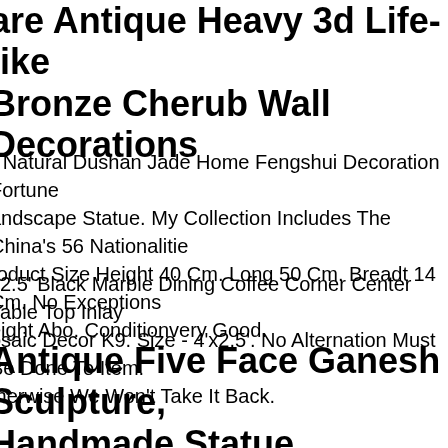Rare Antique Heavy 3d Life-like Bronze Cherub Wall Decorations
" Natural Dushan Jade Home Fengshui Decoration Fortune Landscape Statue. My Collection Includes The China's 56 Nationalities Product Size Height 40 Cm. Long 50 Cm. Breadt 14 Cm. No Exceptions Height Abo. Conditionvery Good.
x2.5' Black Marble Dining Coffee Corner Center Table Top Inlay Mosaic Decor K9. Size - 4'x2.5'. No Alternation Must Be Done To Item. Otherwise We Won't Take It Back.
Antique Five Face Ganesh Sculpture, Handmade Statue, Decorative Idol, Gift, Art